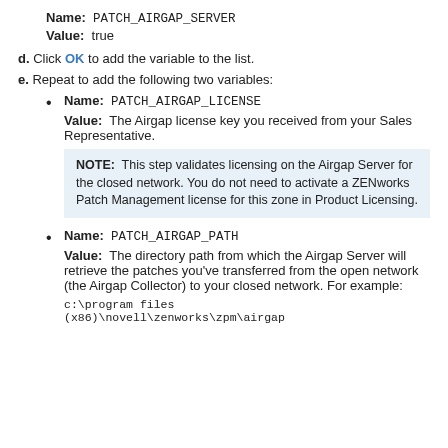Name: PATCH_AIRGAP_SERVER
Value: true
d. Click OK to add the variable to the list.
e. Repeat to add the following two variables:
Name: PATCH_AIRGAP_LICENSE
Value: The Airgap license key you received from your Sales Representative.
NOTE: This step validates licensing on the Airgap Server for the closed network. You do not need to activate a ZENworks Patch Management license for this zone in Product Licensing.
Name: PATCH_AIRGAP_PATH
Value: The directory path from which the Airgap Server will retrieve the patches you've transferred from the open network (the Airgap Collector) to your closed network. For example:
c:\program files (x86)\novell\zenworks\zpm\airgap